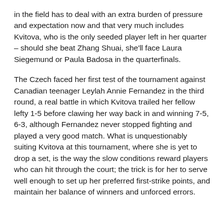in the field has to deal with an extra burden of pressure and expectation now and that very much includes Kvitova, who is the only seeded player left in her quarter – should she beat Zhang Shuai, she'll face Laura Siegemund or Paula Badosa in the quarterfinals.
The Czech faced her first test of the tournament against Canadian teenager Leylah Annie Fernandez in the third round, a real battle in which Kvitova trailed her fellow lefty 1-5 before clawing her way back in and winning 7-5, 6-3, although Fernandez never stopped fighting and played a very good match. What is unquestionably suiting Kvitova at this tournament, where she is yet to drop a set, is the way the slow conditions reward players who can hit through the court; the trick is for her to serve well enough to set up her preferred first-strike points, and maintain her balance of winners and unforced errors.